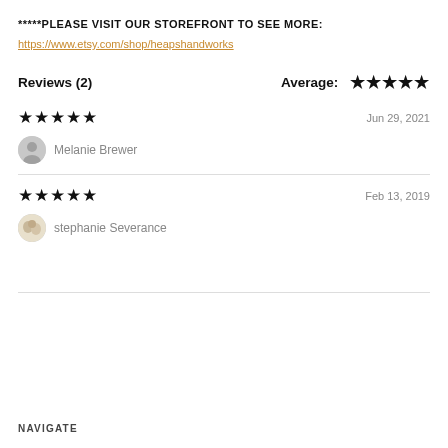*****PLEASE VISIT OUR STOREFRONT TO SEE MORE:
https://www.etsy.com/shop/heapshandworks
Reviews (2)
Average: ★★★★★
★★★★★   Jun 29, 2021
Melanie Brewer
★★★★★   Feb 13, 2019
stephanie Severance
NAVIGATE